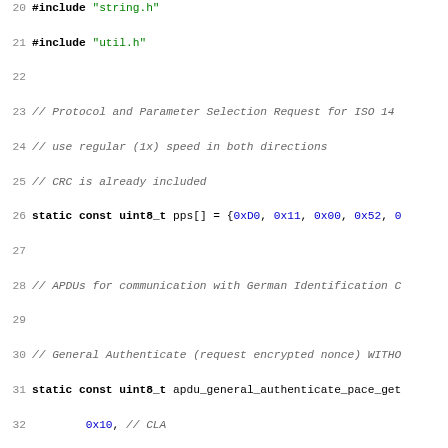Source code snippet showing C array declarations for APDU communication with German Identification Card, including pps[], apdu_general_authenticate_pace_get[], apdu_mse_set_at_start[], and apdu_select_binary_cardaccess[] with hex values and comments.